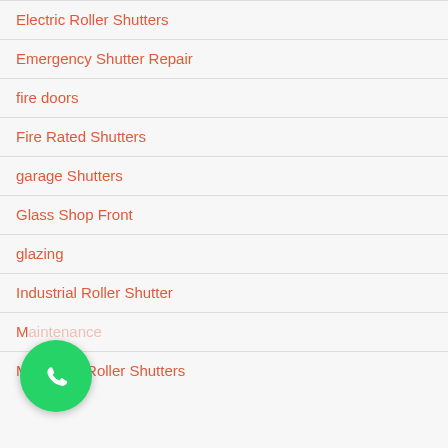Electric Roller Shutters
Emergency Shutter Repair
fire doors
Fire Rated Shutters
garage Shutters
Glass Shop Front
glazing
Industrial Roller Shutter
Maintenance
Motorised Roller Shutters
[Figure (logo): WhatsApp chat button - green circular icon with white phone handset]